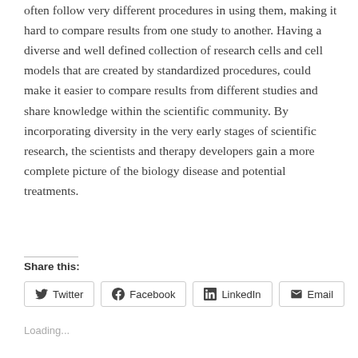often follow very different procedures in using them, making it hard to compare results from one study to another. Having a diverse and well defined collection of research cells and cell models that are created by standardized procedures, could make it easier to compare results from different studies and share knowledge within the scientific community. By incorporating diversity in the very early stages of scientific research, the scientists and therapy developers gain a more complete picture of the biology disease and potential treatments.
Share this:
Loading...